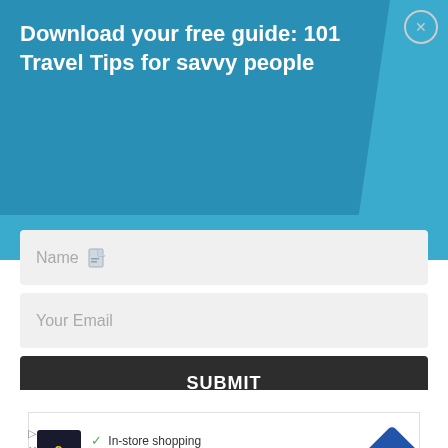Download your free guide: 101 Travel Tips for savvy people
Name
Your Email
SUBMIT
[Figure (screenshot): Advertisement banner showing cm logo with text: In-store shopping, Curbside pickup, Delivery, and a map navigation icon]
In-store shopping Curbside pickup Delivery